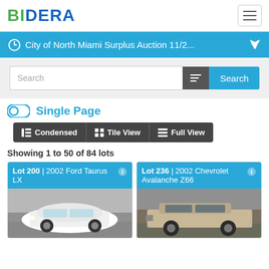BIDERA
City of North Miami Surplus Auction 11/2...
Search
Single Page
Condensed  Tile View  Full View
Showing 1 to 50 of 84 lots
Lot 200 | 2002 Ford Taurus LX
[Figure (photo): Photo of a white 2002 Ford Taurus LX sedan in a parking lot]
Lot 236 | 2002 Chevrolet Avalanche Z66
[Figure (photo): Photo of a silver/beige 2002 Chevrolet Avalanche Z66 SUV in a parking lot]